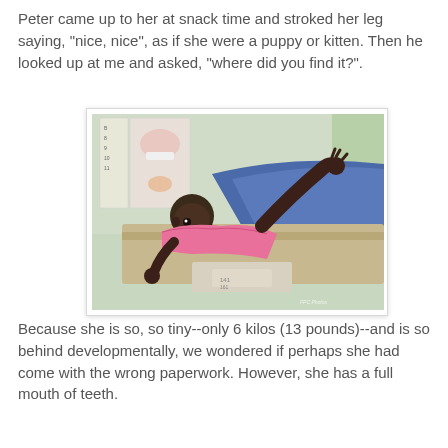Peter came up to her at snack time and stroked her leg saying, "nice, nice", as if she were a puppy or kitten. Then he looked up at me and asked, "where did you find it?".
[Figure (photo): A small child lying on a medical exam/scale table, wearing a pink shirt and blue pants, with one arm raised. Medical posters visible on the wall in the background.]
Because she is so, so tiny--only 6 kilos (13 pounds)--and is so behind developmentally, we wondered if perhaps she had come with the wrong paperwork. However, she has a full mouth of teeth.